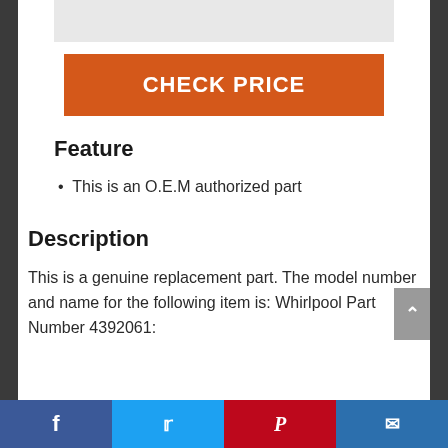[Figure (photo): Product image placeholder (gray box at top)]
CHECK PRICE
Feature
This is an O.E.M authorized part
Description
This is a genuine replacement part. The model number and name for the following item is: Whirlpool Part Number 4392061: